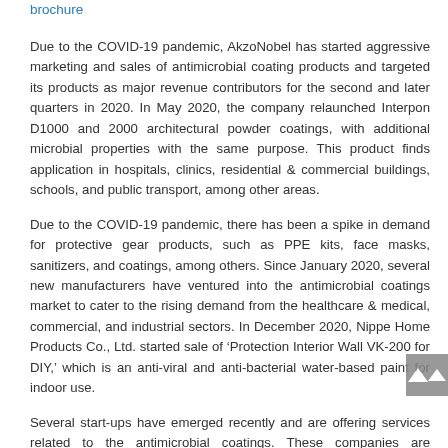brochure
Due to the COVID-19 pandemic, AkzoNobel has started aggressive marketing and sales of antimicrobial coating products and targeted its products as major revenue contributors for the second and later quarters in 2020. In May 2020, the company relaunched Interpon D1000 and 2000 architectural powder coatings, with additional microbial properties with the same purpose. This product finds application in hospitals, clinics, residential & commercial buildings, schools, and public transport, among other areas.
Due to the COVID-19 pandemic, there has been a spike in demand for protective gear products, such as PPE kits, face masks, sanitizers, and coatings, among others. Since January 2020, several new manufacturers have ventured into the antimicrobial coatings market to cater to the rising demand from the healthcare & medical, commercial, and industrial sectors. In December 2020, Nippe Home Products Co., Ltd. started sale of ‘Protection Interior Wall VK-200 for DIY,’ which is an anti-viral and anti-bacterial water-based paint for indoor use.
Several start-ups have emerged recently and are offering services related to the antimicrobial coatings. These companies are emphasizing on the aggressive marketing strategy to reduce the lead time to customers. In March 2020, GrapheneCA (Nano Graphene Inc.) launched antimicrobial coating products. Also, in April 2020, the company launched products on